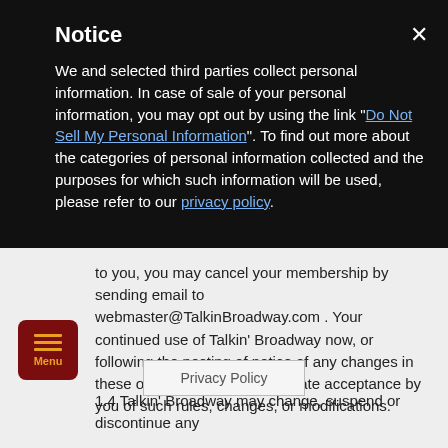Notice
We and selected third parties collect personal information. In case of sale of your personal information, you may opt out by using the link "Do Not Sell My Personal Information". To find out more about the categories of personal information collected and the purposes for which such information will be used, please refer to our privacy policy.
to you, you may cancel your membership by sending email to webmaster@TalkinBroadway.com . Your continued use of Talkin' Broadway now, or following the posting of notice of any changes in these operating rules, will indicate acceptance by you of such rules, changes, or modifications.
1.4 Talkin' Broadway may change, suspend or discontinue any
[Figure (other): Red menu button with hamburger icon and 'Menu' label]
Privacy Policy